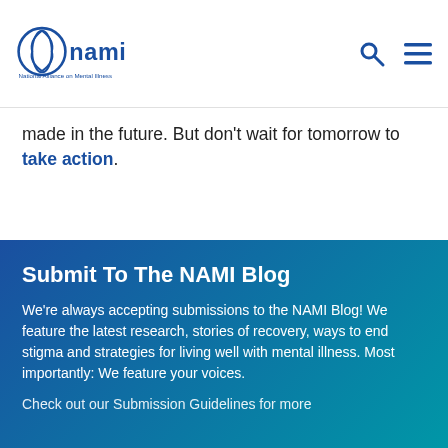NAMI - National Alliance on Mental Illness
made in the future. But don't wait for tomorrow to take action.
Submit To The NAMI Blog
We're always accepting submissions to the NAMI Blog! We feature the latest research, stories of recovery, ways to end stigma and strategies for living well with mental illness. Most importantly: We feature your voices.
Check out our Submission Guidelines for more